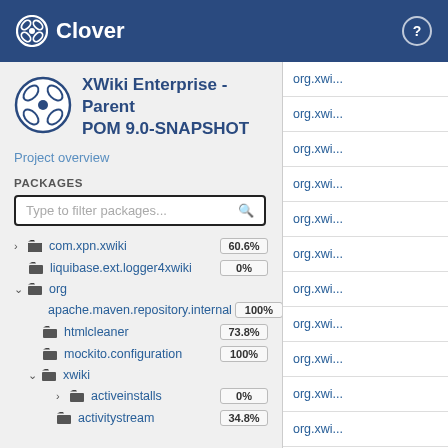Clover
XWiki Enterprise - Parent POM 9.0-SNAPSHOT
Project overview
PACKAGES
Type to filter packages...
com.xpn.xwiki 60.6%
liquibase.ext.logger4xwiki 0%
org
apache.maven.repository.internal 100%
htmlcleaner 73.8%
mockito.configuration 100%
xwiki
activeinstalls 0%
activitystream 34.8%
org.xwi...
org.xwi...
org.xwi...
org.xwi...
org.xwi...
org.xwi...
org.xwi...
org.xwi...
org.xwi...
org.xwi...
org.xwi...
org.xwi...